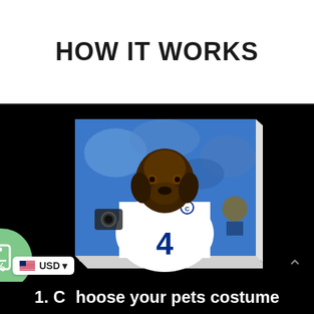HOW IT WORKS
[Figure (illustration): A canvas print showing a dog's head (Labrador) digitally placed on a Dallas Cowboys NFL quarterback jersey (number 4) with blue background, positioned on a white canvas frame. Green discount badge on left side. Black background surrounding the artwork.]
USD
1. Choose your pets costume